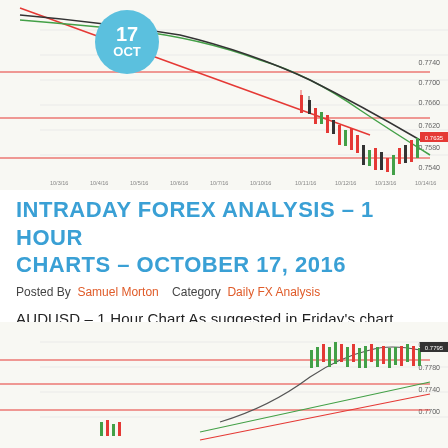[Figure (continuous-plot): AUDUSD 1-hour forex candlestick chart with trend lines, moving averages, and horizontal support/resistance levels in red and green. Date badge '17 OCT' overlaid in top-left area.]
INTRADAY FOREX ANALYSIS – 1 HOUR CHARTS – OCTOBER 17, 2016
Posted By  Samuel Morton   Category  Daily FX Analysis
AUDUSD – 1 Hour Chart As suggested in Friday's chart analysis, price was bullish during Friday's trading sessions. As also suggested, price has fou…
Read More
[Figure (continuous-plot): Forex candlestick chart with '14 OCT' date badge, showing upward price movement with trend lines and support/resistance levels.]